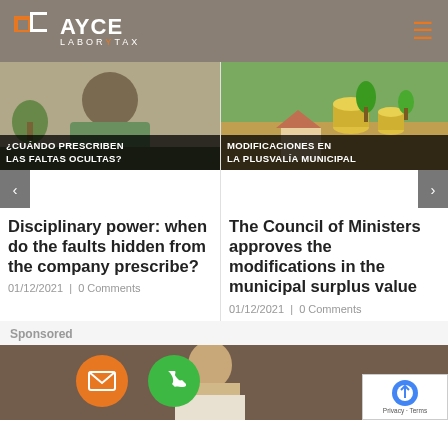[Figure (logo): AYCE LABOR & TAX logo with orange square bracket icon on grey-brown header background]
[Figure (photo): Person with head in hands at desk with overlay text: ¿CUÁNDO PRESCRIBEN LAS FALTAS OCULTAS?]
[Figure (photo): Stacked coins with plants and house models, overlay text: MODIFICACIONES EN LA PLUSVALÍA MUNICIPAL]
Disciplinary power: when do the faults hidden from the company prescribe?
01/12/2021  |  0 Comments
The Council of Ministers approves the modifications in the municipal surplus value
01/12/2021  |  0 Comments
Sponsored
[Figure (photo): Bottom advertisement area with a person, orange email icon circle, green phone icon circle, and reCAPTCHA badge]